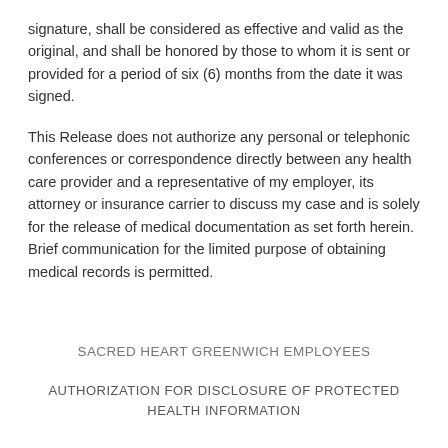signature, shall be considered as effective and valid as the original, and shall be honored by those to whom it is sent or provided for a period of six (6) months from the date it was signed.
This Release does not authorize any personal or telephonic conferences or correspondence directly between any health care provider and a representative of my employer, its attorney or insurance carrier to discuss my case and is solely for the release of medical documentation as set forth herein. Brief communication for the limited purpose of obtaining medical records is permitted.
SACRED HEART GREENWICH EMPLOYEES
AUTHORIZATION FOR DISCLOSURE OF PROTECTED HEALTH INFORMATION